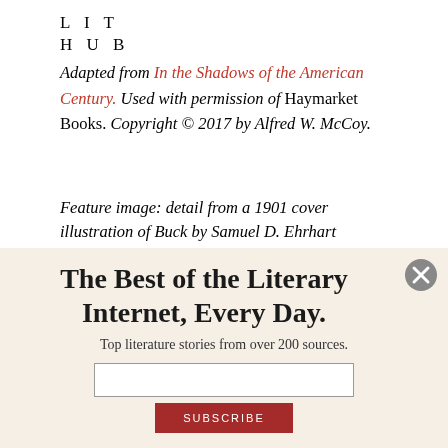LIT
HUB
Adapted from In the Shadows of the American Century. Used with permission of Haymarket Books. Copyright © 2017 by Alfred W. McCoy.
Feature image: detail from a 1901 cover illustration of Buck by Samuel D. Ehrhart
The Best of the Literary Internet, Every Day.
Top literature stories from over 200 sources.